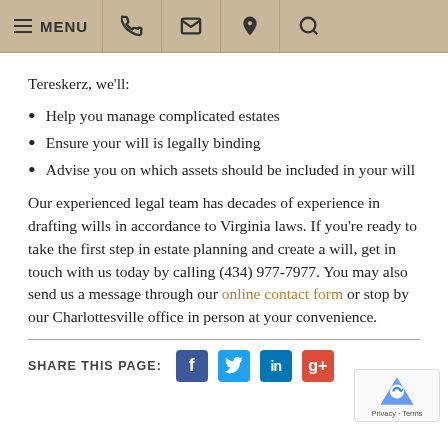MENU [navigation icons]
Tereskerz, we'll:
Help you manage complicated estates
Ensure your will is legally binding
Advise you on which assets should be included in your will
Our experienced legal team has decades of experience in drafting wills in accordance to Virginia laws. If you're ready to take the first step in estate planning and create a will, get in touch with us today by calling (434) 977-7977. You may also send us a message through our online contact form or stop by our Charlottesville office in person at your convenience.
SHARE THIS PAGE: [Facebook] [Twitter] [LinkedIn] [Google+]